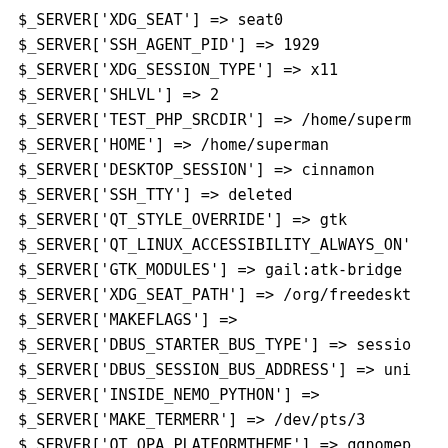$_SERVER['XDG_SEAT'] => seat0
$_SERVER['SSH_AGENT_PID'] => 1929
$_SERVER['XDG_SESSION_TYPE'] => x11
$_SERVER['SHLVL'] => 2
$_SERVER['TEST_PHP_SRCDIR'] => /home/superm
$_SERVER['HOME'] => /home/superman
$_SERVER['DESKTOP_SESSION'] => cinnamon
$_SERVER['SSH_TTY'] => deleted
$_SERVER['QT_STYLE_OVERRIDE'] => gtk
$_SERVER['QT_LINUX_ACCESSIBILITY_ALWAYS_ON'
$_SERVER['GTK_MODULES'] => gail:atk-bridge
$_SERVER['XDG_SEAT_PATH'] => /org/freedeskt
$_SERVER['MAKEFLAGS'] =>
$_SERVER['DBUS_STARTER_BUS_TYPE'] => sessio
$_SERVER['DBUS_SESSION_BUS_ADDRESS'] => uni
$_SERVER['INSIDE_NEMO_PYTHON'] =>
$_SERVER['MAKE_TERMERR'] => /dev/pts/3
$_SERVER['QT_QPA_PLATFORMTHEME'] => qgnomep
$_SERVER['MANDATORY_PATH'] => /usr/share/go